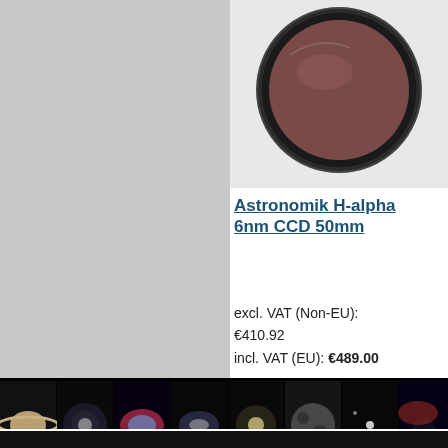[Figure (photo): Circular astronomy camera filter with dark brownish-red glass and black metal ring, shown on light gray background]
Astronomik H-alpha 6nm CCD 50mm
excl. VAT (Non-EU): €410.92
incl. VAT (EU): €489.00
Details
1 Item(s)
View as: List  Grid
[Figure (photo): Footer strip of astronomy images: Saturn, nebulae, galaxies, moon craters, horsehead nebula on black background]